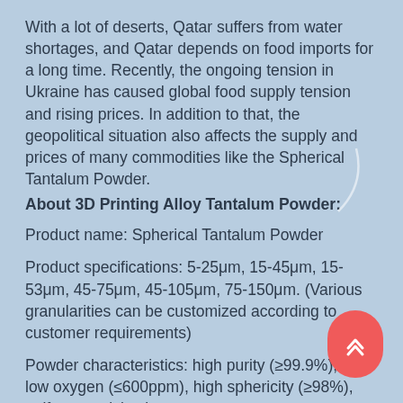With a lot of deserts, Qatar suffers from water shortages, and Qatar depends on food imports for a long time. Recently, the ongoing tension in Ukraine has caused global food supply tension and rising prices. In addition to that, the geopolitical situation also affects the supply and prices of many commodities like the Spherical Tantalum Powder.
About 3D Printing Alloy Tantalum Powder:
Product name: Spherical Tantalum Powder
Product specifications: 5-25μm, 15-45μm, 15-53μm, 45-75μm, 45-105μm, 75-150μm. (Various granularities can be customized according to customer requirements)
Powder characteristics: high purity (≥99.9%), ultra-low oxygen (≤600ppm), high sphericity (≥98%), uniform particle size